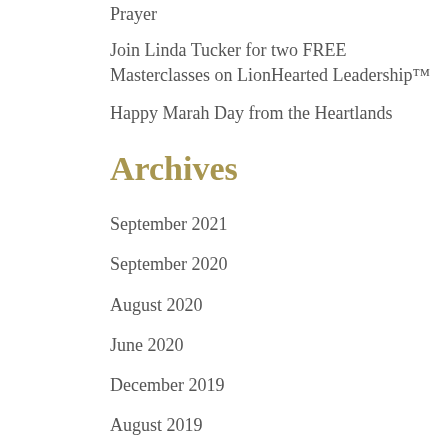Prayer
Join Linda Tucker for two FREE Masterclasses on LionHearted Leadership™
Happy Marah Day from the Heartlands
Archives
September 2021
September 2020
August 2020
June 2020
December 2019
August 2019
December 2018